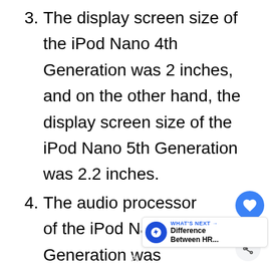3. The display screen size of the iPod Nano 4th Generation was 2 inches, and on the other hand, the display screen size of the iPod Nano 5th Generation was 2.2 inches.
4. The audio processor of the iPod Nano 4th Generation was Cirrus Logic CS42L58. On the other hand, the audio processor for the iPod Nano 5th Generation was Cirrus Logic CL11480A.